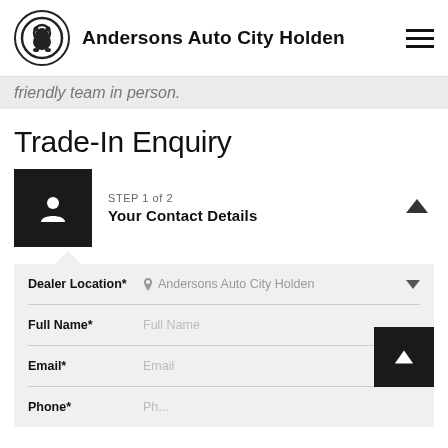Andersons Auto City Holden
friendly team in person.
Trade-In Enquiry
STEP 1 of 2 — Your Contact Details
Dealer Location* Andersons Auto City Holden
Full Name* Full Name
Email* Email
Phone* Ph...